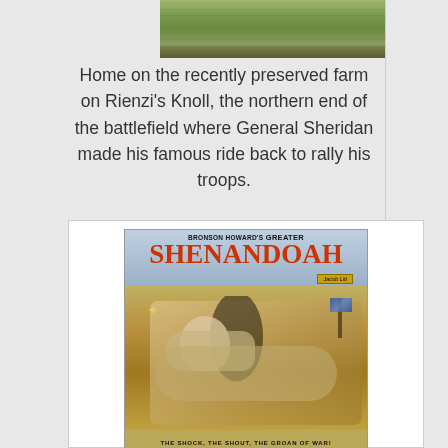[Figure (photo): Partial view of recently preserved farm landscape on Rienzi's Knoll battlefield, showing green field/vegetation from above]
Home on the recently preserved farm on Rienzi's Knoll, the northern end of the battlefield where General Sheridan made his famous ride back to rally his troops.
[Figure (illustration): Theatrical poster for Bronson Howard's Greater Shenandoah, managed by Jacob Litt. Shows a dramatic Civil War scene of a soldier on a white horse carrying a wounded comrade, with battle scene in background. Bottom text reads: The Shock, The Shout, The Groan of War!]
The Shock, The Shout, The Groan of War!